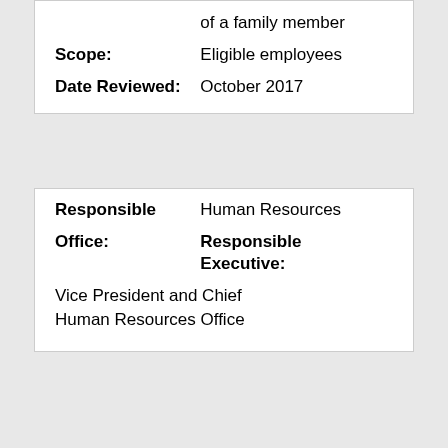|  | of a family member |
| Scope: | Eligible employees |
| Date Reviewed: | October 2017 |
| Responsible | Human Resources |
| Office: | Responsible Executive: |
|  | Vice President and Chief
Human Resources Office |
I. POLICY AND GENERAL STATEMENT
Regular employees of The University of Texas Health Science Center at Houston are eligible for leave to attend the funeral of a family member. A regular employee is appointed for a period of four and one-half consecutive months with a definite job